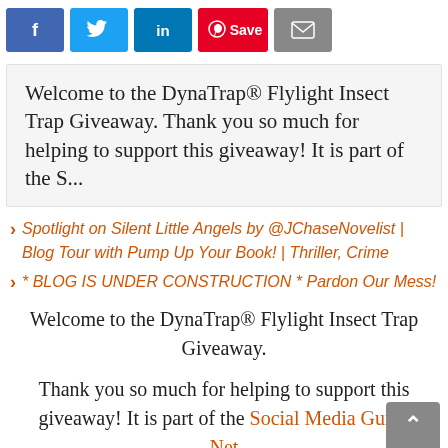[Figure (screenshot): Social share buttons bar: Facebook (blue), Twitter (light blue), LinkedIn (dark blue), Pinterest/Save (red), Email (gray)]
Welcome to the DynaTrap® Flylight Insect Trap Giveaway.  Thank you so much for helping to support this giveaway!  It is part of the  S...
Spotlight on Silent Little Angels by @JChaseNovelist | Blog Tour with Pump Up Your Book! | Thriller, Crime
* BLOG IS UNDER CONSTRUCTION * Pardon Our Mess!
Welcome to the DynaTrap® Flylight Insect Trap Giveaway.
Thank you so much for helping to support this giveaway! It is part of the Social Media Gurus Net...